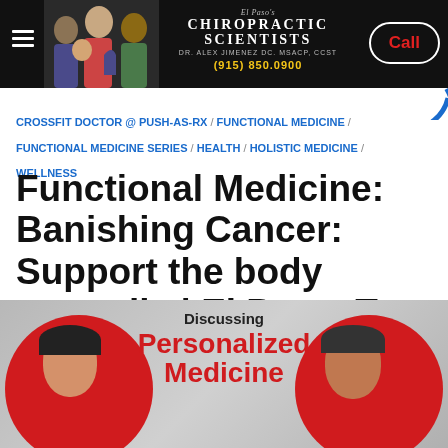[Figure (screenshot): Website header for El Paso's Chiropractic Scientists featuring Dr. Alex Jimenez DC. MSACP, CCST. Black background with group photo of doctors, phone number (915) 850.0900, hamburger menu icon, and a Call button with red text.]
CROSSFIT DOCTOR @ PUSH-AS-RX / FUNCTIONAL MEDICINE / FUNCTIONAL MEDICINE SERIES / HEALTH / HOLISTIC MEDICINE / WELLNESS
Functional Medicine: Banishing Cancer: Support the body naturally | El Paso, Tx (2020)
[Figure (screenshot): Bottom image with grey background showing two people with red circular frames. Text overlay reads: Discussing Personalized Medicine in bold red and black text.]